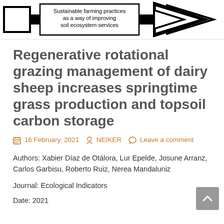[Figure (illustration): Website header graphic with a bold arrow shape pointing right, containing a rectangular text box that reads 'Sustainable farming practices as a way of improving soil ecosystem services']
Regenerative rotational grazing management of dairy sheep increases springtime grass production and topsoil carbon storage
16 February, 2021   NEIKER   Leave a comment
Authors: Xabier Díaz de Otálora, Lur Epelde, Josune Arranz, Carlos Garbisu, Roberto Ruiz, Nerea Mandaluniz
Journal: Ecological Indicators
Date: 2021